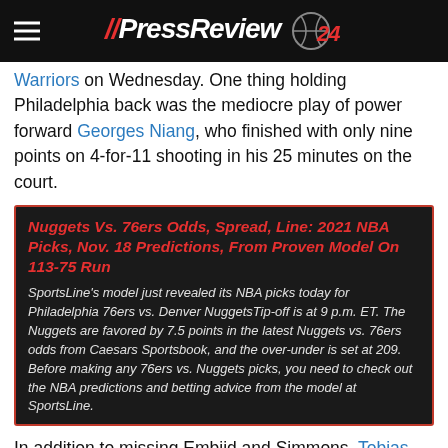PressReview 24
Warriors on Wednesday. One thing holding Philadelphia back was the mediocre play of power forward Georges Niang, who finished with only nine points on 4-for-11 shooting in his 25 minutes on the court.
Nuggets Vs. 76ers Odds, Spread, Line: 2021 NBA Picks, Nov. 18 Predictions, From Proven Model On 113-75 Run
SportsLine's model just revealed its NBA picks today for Philadelphia 76ers vs. Denver NuggetsTip-off is at 9 p.m. ET. The Nuggets are favored by 7.5 points in the latest Nuggets vs. 76ers odds from Caesars Sportsbook, and the over-under is set at 209. Before making any 76ers vs. Nuggets picks, you need to check out the NBA predictions and betting advice from the model at SportsLine.
In addition to missing Embiid and Simmons, Tobias Harris has also missed the last two games with a hip injury, and he's questionable for Saturday's contest.